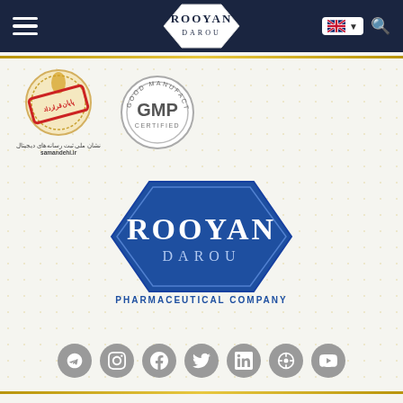[Figure (logo): Rooyan Darou website header with navigation hamburger menu, hexagonal logo, language selector (UK flag), and search icon on dark navy background]
[Figure (logo): Samandehi.ir digital media registration badge with red stamp overlay and Persian text]
[Figure (logo): GMP Certified - Good Manufacturing Practice circular badge in grey]
[Figure (logo): Rooyan Darou Pharmaceutical Company main logo - hexagonal blue badge with stylized text]
[Figure (infographic): Social media icons row: Telegram, Instagram, Facebook, Twitter, LinkedIn, a wheel/film icon, YouTube - all grey circles]